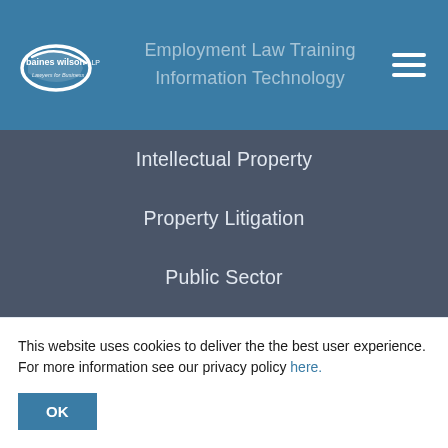[Figure (logo): Baines Wilson LLP - Lawyers for Business logo with white oval shape on blue background]
Employment Law Training
Information Technology
Intellectual Property
Property Litigation
Public Sector
Seminars
ABOUT US
About Us
This website uses cookies to deliver the the best user experience. For more information see our privacy policy here.